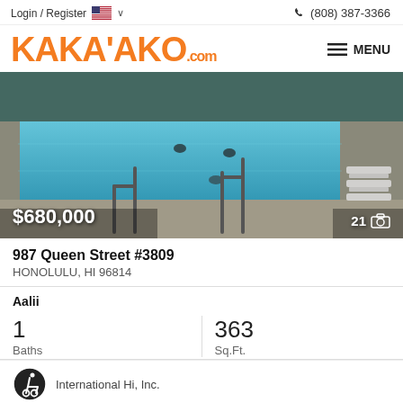Login / Register  🇺🇸 ∨    ☎ (808) 387-3366
KAKA'AKO.com
MENU
[Figure (photo): Outdoor swimming pool area with lounge chairs, two people swimming, and surrounding deck. Price overlay $680,000 and photo count 21.]
987 Queen Street #3809
HONOLULU, HI 96814
Aalii
1
Baths
363
Sq.Ft.
International Hi, Inc.